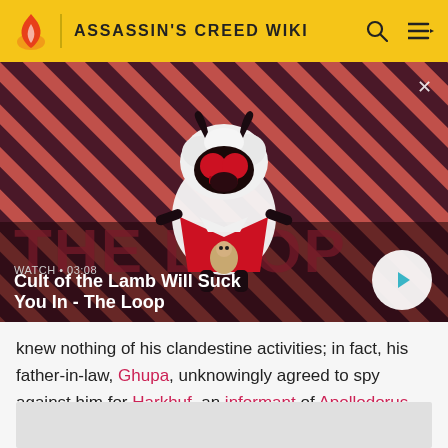ASSASSIN'S CREED WIKI
[Figure (screenshot): Video thumbnail for 'Cult of the Lamb Will Suck You In - The Loop' showing a cartoon lamb character on a red diagonal striped background with a play button. Duration shown: 03:08]
knew nothing of his clandestine activities; in fact, his father-in-law, Ghupa, unknowingly agreed to spy against him for Harkhuf, an informant of Apollodorus.